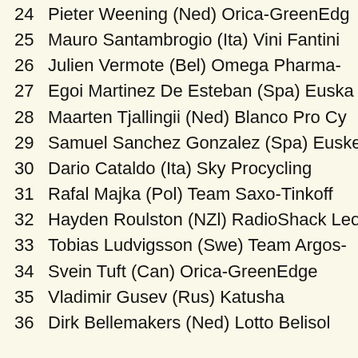24  Pieter Weening (Ned) Orica-GreenEdge
25  Mauro Santambrogio (Ita) Vini Fantini
26  Julien Vermote (Bel) Omega Pharma-
27  Egoi Martinez De Esteban (Spa) Euska
28  Maarten Tjallingii (Ned) Blanco Pro Cy
29  Samuel Sanchez Gonzalez (Spa) Euske
30  Dario Cataldo (Ita) Sky Procycling
31  Rafal Majka (Pol) Team Saxo-Tinkoff
32  Hayden Roulston (NZl) RadioShack Leo
33  Tobias Ludvigsson (Swe) Team Argos-
34  Svein Tuft (Can) Orica-GreenEdge
35  Vladimir Gusev (Rus) Katusha
36  Dirk Bellemakers (Ned) Lotto Belisol